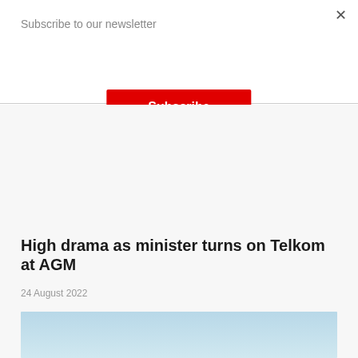Subscribe to our newsletter
Subscribe
High drama as minister turns on Telkom at AGM
24 August 2022
[Figure (photo): Light blue sky photograph partially visible at bottom of page]